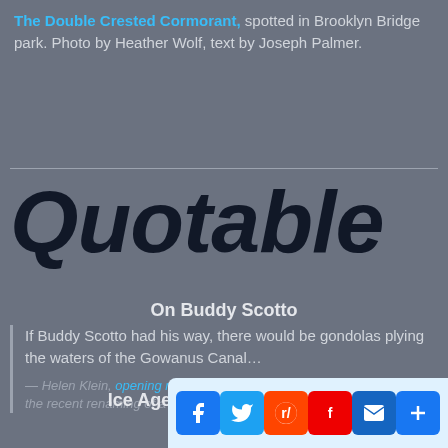The Double Crested Cormorant, spotted in Brooklyn Bridge park. Photo by Heather Wolf, text by Joseph Palmer.
Quotable
On Buddy Scotto
If Buddy Scotto had his way, there would be gondolas plying the waters of the Gowanus Canal…
— Helen Klein, opening remarks in a remembrance of Buddy Scotto at the recent renaming of a Carroll Gardens Street
Ice Ages & Climate Change
Could humans live thro…